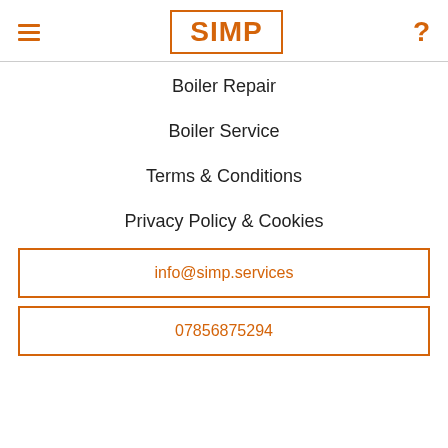SIMP
Boiler Repair
Boiler Service
Terms & Conditions
Privacy Policy & Cookies
info@simp.services
07856875294